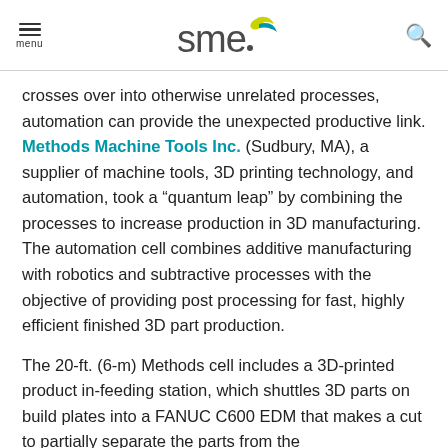menu | SME logo | search
crosses over into otherwise unrelated processes, automation can provide the unexpected productive link. Methods Machine Tools Inc. (Sudbury, MA), a supplier of machine tools, 3D printing technology, and automation, took a “quantum leap” by combining the processes to increase production in 3D manufacturing. The automation cell combines additive manufacturing with robotics and subtractive processes with the objective of providing post processing for fast, highly efficient finished 3D part production.
The 20-ft. (6-m) Methods cell includes a 3D-printed product in-feeding station, which shuttles 3D parts on build plates into a FANUC C600 EDM that makes a cut to partially separate the parts from the